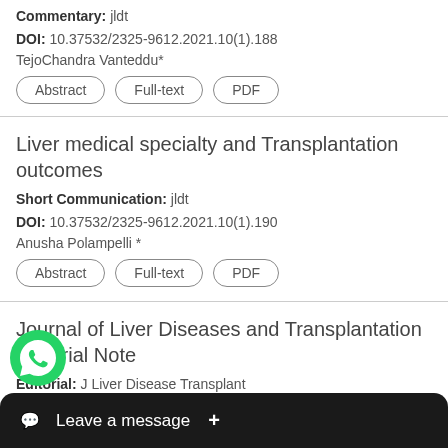Commentary: jldt
DOI: 10.37532/2325-9612.2021.10(1).188
TejoChandra Vanteddu*
Liver medical specialty and Transplantation outcomes
Short Communication: jldt
DOI: 10.37532/2325-9612.2021.10(1).190
Anusha Polampelli *
Journal of Liver Diseases and Transplantation Editorial Note
Editorial: J Liver Disease Transplant
DOI:
o Spirli